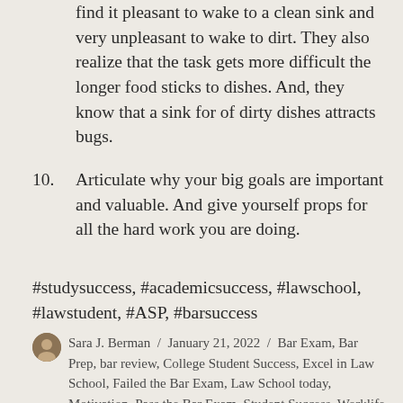find it pleasant to wake to a clean sink and very unpleasant to wake to dirt. They also realize that the task gets more difficult the longer food sticks to dishes. And, they know that a sink for of dirty dishes attracts bugs.
10. Articulate why your big goals are important and valuable. And give yourself props for all the hard work you are doing.
#studysuccess, #academicsuccess, #lawschool, #lawstudent, #ASP, #barsuccess
Sara J. Berman / January 21, 2022 / Bar Exam, Bar Prep, bar review, College Student Success, Excel in Law School, Failed the Bar Exam, Law School today, Motivation, Pass the Bar Exam, Student Success, Worklife balance / #lawschool, Bar Exam, bar review, law school